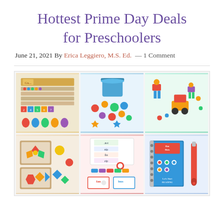Hottest Prime Day Deals for Preschoolers
June 21, 2021 By Erica Leggiero, M.S. Ed. — 1 Comment
[Figure (photo): Collage of six educational toys for preschoolers arranged in a 3x2 grid: top row shows a wooden counting/sorting toy set, colorful peg and board toys in a bucket, and colorful building/construction toys; bottom row shows wooden pattern block puzzle trays, a reading/spelling card set with word flash cards, and a Hot Dots Let's Start Reading book with a stylus pen.]